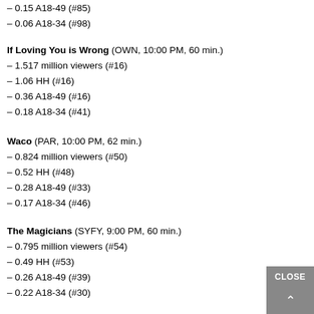– 0.15 A18-49 (#85)
– 0.06 A18-34 (#98)
If Loving You is Wrong (OWN, 10:00 PM, 60 min.)
– 1.517 million viewers (#16)
– 1.06 HH (#16)
– 0.36 A18-49 (#16)
– 0.18 A18-34 (#41)
Waco (PAR, 10:00 PM, 62 min.)
– 0.824 million viewers (#50)
– 0.52 HH (#48)
– 0.28 A18-49 (#33)
– 0.17 A18-34 (#46)
The Magicians (SYFY, 9:00 PM, 60 min.)
– 0.795 million viewers (#54)
– 0.49 HH (#53)
– 0.26 A18-49 (#39)
– 0.22 A18-34 (#30)
Full Frontal with Samantha Bee (TBS, 10:30 PM, 30 min.)
– 1.131 million viewers (#28)
– 0.75 HH (#28)
– 0.34 A18-49 (#21)